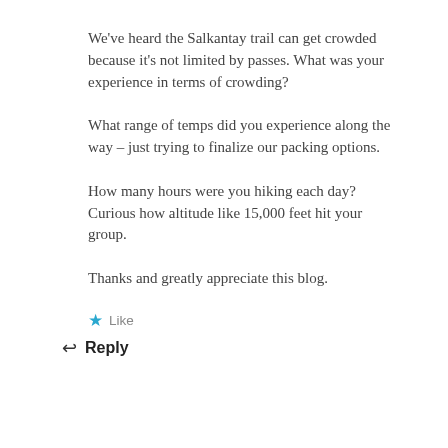We've heard the Salkantay trail can get crowded because it's not limited by passes. What was your experience in terms of crowding?
What range of temps did you experience along the way – just trying to finalize our packing options.
How many hours were you hiking each day? Curious how altitude like 15,000 feet hit your group.
Thanks and greatly appreciate this blog.
★ Like
↩ Reply